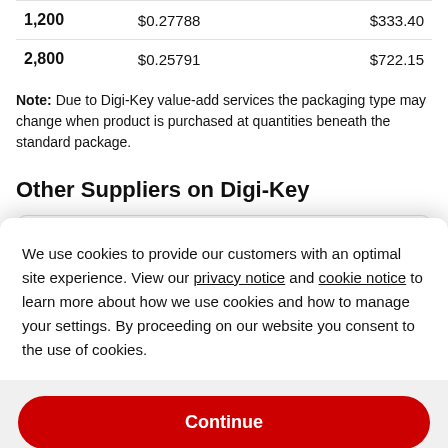| Quantity | Unit Price | Extended Price |
| --- | --- | --- |
| 1,200 | $0.27788 | $333.40 |
| 2,800 | $0.25791 | $722.15 |
Note: Due to Digi-Key value-add services the packaging type may change when product is purchased at quantities beneath the standard package.
Other Suppliers on Digi-Key
We use cookies to provide our customers with an optimal site experience. View our privacy notice and cookie notice to learn more about how we use cookies and how to manage your settings. By proceeding on our website you consent to the use of cookies.
Continue
Exit
Privacy Notice